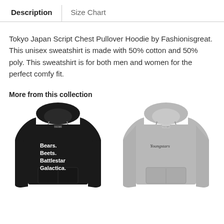Description | Size Chart
Tokyo Japan Script Chest Pullover Hoodie by Fashionisgreat. This unisex sweatshirt is made with 50% cotton and 50% poly. This sweatshirt is for both men and women for the perfect comfy fit.
More from this collection
[Figure (photo): Black pullover hoodie with white text reading 'Bears. Beets. Battlestar Galactica.']
[Figure (photo): Gray/heather pullover hoodie with small script text on chest]